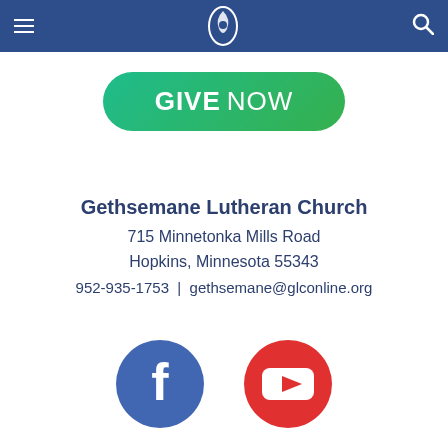Gethsemane Lutheran Church navigation header
[Figure (illustration): Green rounded rectangle button with text GIVE NOW]
Gethsemane Lutheran Church
715 Minnetonka Mills Road
Hopkins, Minnesota 55343
952-935-1753  |  gethsemane@glconline.org
[Figure (illustration): Facebook circle icon (blue) and YouTube circle icon (red)]